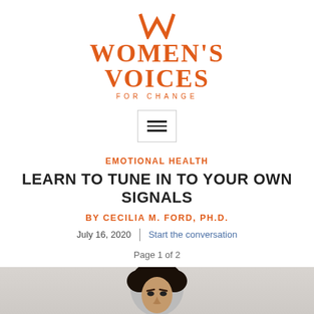[Figure (logo): Women's Voices For Change logo with orange W lettermark and serif text]
[Figure (other): Hamburger menu button icon with three horizontal lines inside a rectangle border]
EMOTIONAL HEALTH
LEARN TO TUNE IN TO YOUR OWN SIGNALS
BY CECILIA M. FORD, PH.D.
July 16, 2020  |  Start the conversation
Page 1 of 2
[Figure (photo): Photo of a person with curly dark hair, partially visible from top of frame, on a light background]